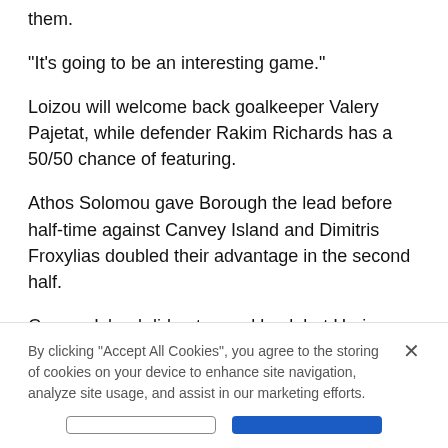them.
"It's going to be an interesting game."
Loizou will welcome back goalkeeper Valery Pajetat, while defender Rakim Richards has a 50/50 chance of featuring.
Athos Solomou gave Borough the lead before half-time against Canvey Island and Dimitris Froxylias doubled their advantage in the second half.
Canvey Island did get a goal back but Haringey advanced into the third qualifying round of the FA Trophy to play Hemel Hempstead at home.
By clicking “Accept All Cookies”, you agree to the storing of cookies on your device to enhance site navigation, analyze site usage, and assist in our marketing efforts.